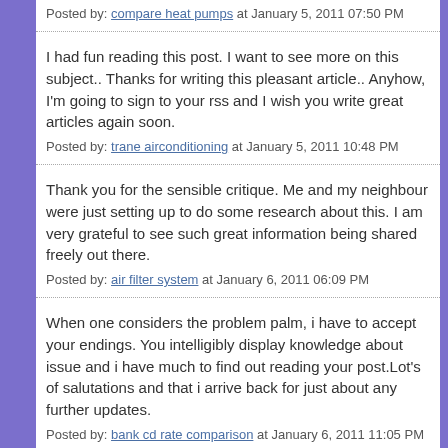Posted by: compare heat pumps at January 5, 2011 07:50 PM
I had fun reading this post. I want to see more on this subject.. Thanks for writing this pleasant article.. Anyhow, I'm going to sign to your rss and I wish you write great articles again soon.
Posted by: trane airconditioning at January 5, 2011 10:48 PM
Thank you for the sensible critique. Me and my neighbour were just setting up to do some research about this. I am very grateful to see such great information being shared freely out there.
Posted by: air filter system at January 6, 2011 06:09 PM
When one considers the problem palm, i have to accept your endings. You intelligibly display knowledge about issue and i have much to find out reading your post.Lot's of salutations and that i arrive back for just about any further updates.
Posted by: bank cd rate comparison at January 6, 2011 11:05 PM
You could leave an article, sorry to the matter of the image. You...